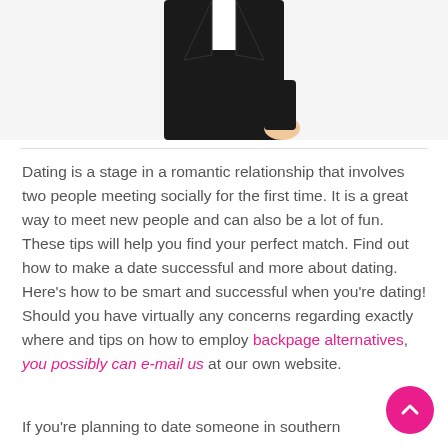[Figure (illustration): Partial illustration of a person wearing a black suit/tuxedo, cropped at the top of the page showing torso and hands]
Dating is a stage in a romantic relationship that involves two people meeting socially for the first time. It is a great way to meet new people and can also be a lot of fun. These tips will help you find your perfect match. Find out how to make a date successful and more about dating. Here’s how to be smart and successful when you’re dating! Should you have virtually any concerns regarding exactly where and tips on how to employ backpage alternatives, you possibly can e-mail us at our own website.
If you’re planning to date someone in southern